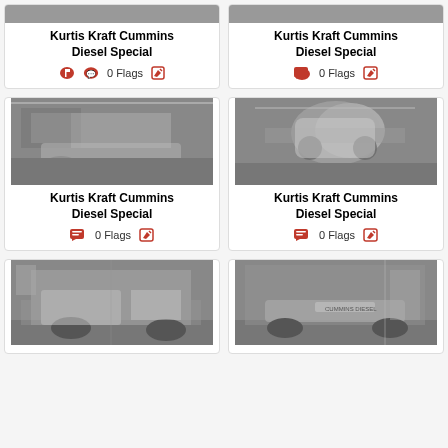[Figure (photo): Black and white photo of a Kurtis Kraft Cummins Diesel Special racing car in a garage (top, partially visible)]
[Figure (photo): Black and white photo of a Kurtis Kraft Cummins Diesel Special racing car in a garage (top, partially visible)]
Kurtis Kraft Cummins Diesel Special
0 Flags
Kurtis Kraft Cummins Diesel Special
0 Flags
[Figure (photo): Black and white photo of a Kurtis Kraft Cummins Diesel Special racing car viewed from side in a garage/workshop]
[Figure (photo): Black and white photo of a Kurtis Kraft Cummins Diesel Special racing car viewed from front in a garage/workshop]
Kurtis Kraft Cummins Diesel Special
0 Flags
Kurtis Kraft Cummins Diesel Special
0 Flags
[Figure (photo): Black and white photo of a racing car with a person standing next to it in a garage (partial, bottom)]
[Figure (photo): Black and white photo of a Cummins diesel racing car in a garage (partial, bottom)]